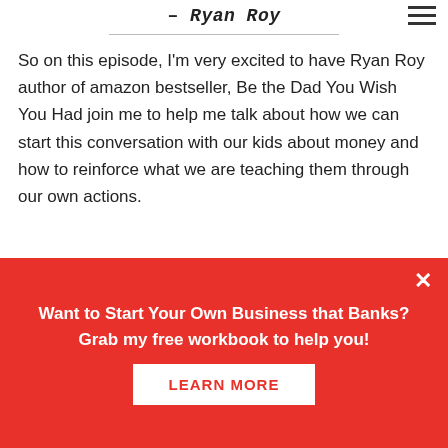– Ryan Roy
So on this episode, I'm very excited to have Ryan Roy author of amazon bestseller, Be the Dad You Wish You Had join me to help me talk about how we can start this conversation with our kids about money and how to reinforce what we are teaching them through our own actions.
Want to Start Your Own Business that Banks? Grab my free workbook to help you!
LEARN MORE